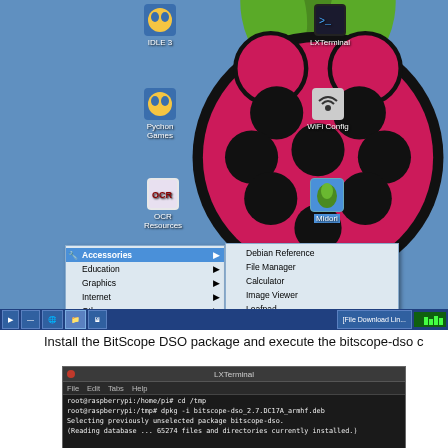[Figure (screenshot): Raspberry Pi desktop screenshot showing the application menu with Accessories submenu open, highlighting 'Root Terminal'. The Raspberry Pi logo is visible in the background. Desktop icons include IDLE 3, LXTerminal, IDLE, Python Games, WiFi Config, OCR Resources, and Midori.]
Install the BitScope DSO package and execute the bitscope-dso c
[Figure (screenshot): LXTerminal window showing commands: cd /tmp, dpkg -i bitscope-dso_2.7.DC17A_armhf.deb, Selecting previously unselected package bitscope-dso, Reading database... 65274 files and directories currently installed.]